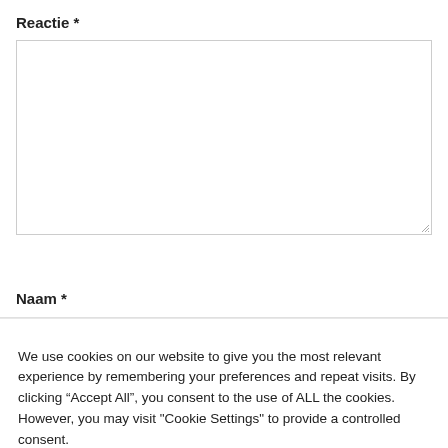Reactie *
[Figure (other): Empty textarea input box for comment/reaction text]
Naam *
We use cookies on our website to give you the most relevant experience by remembering your preferences and repeat visits. By clicking “Accept All”, you consent to the use of ALL the cookies. However, you may visit "Cookie Settings" to provide a controlled consent.
Cookie Settings | Accept All